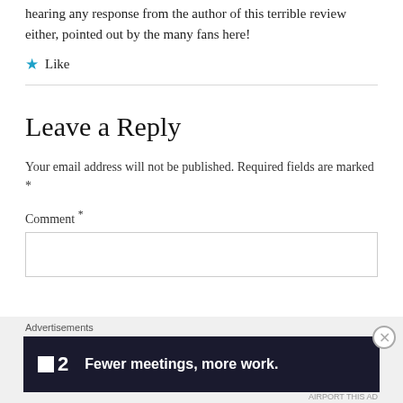hearing any response from the author of this terrible review either, pointed out by the many fans here!
★ Like
Leave a Reply
Your email address will not be published. Required fields are marked *
Comment *
[Figure (other): Advertisement banner: F2 logo with text 'Fewer meetings, more work.' on dark navy background]
Advertisements